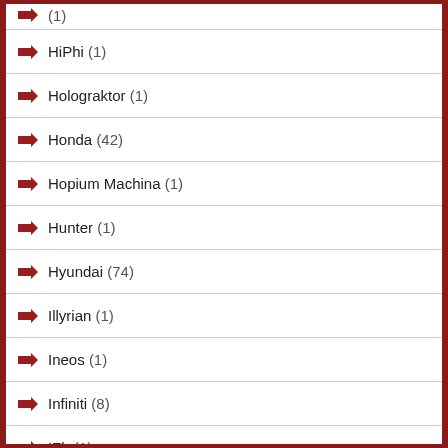HiPhi (1)
Holograktor (1)
Honda (42)
Hopium Machina (1)
Hunter (1)
Hyundai (74)
Illyrian (1)
Ineos (1)
Infiniti (8)
IZh (1)
JAC (3)
Jaguar (13)
Jeep (13)
Karma (1)